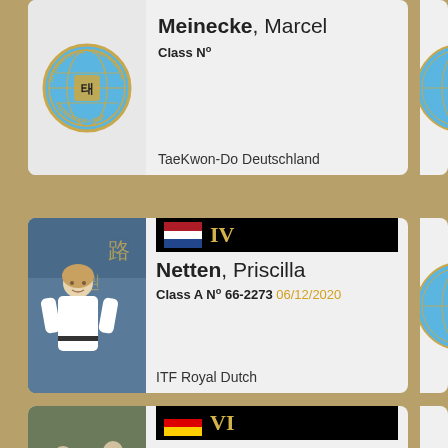[Figure (other): Taekwondo instructor card for Meinecke, Marcel. Shows ITF logo, no photo visible. Class N°. Organization: TaeKwon-Do Deutschland.]
[Figure (other): Taekwondo instructor card for Netten, Priscilla. Netherlands flag, rank IV (black bar, gold roman numeral). Photo of female instructor in dobok. Class A N° 66-2273, date 06/12/2020. ITF Royal Dutch.]
[Figure (other): Taekwondo instructor card for Raven, Joerg. German flag, rank VI (black bar, gold roman numeral). Photo of instructor doing kick in dobok. Class A N° 67-2406, date 09/05/2021. German ITF.]
[Figure (other): Partially visible taekwondo instructor card at bottom. South Africa flag, rank V (black bar, gold roman numeral). Card mostly cut off.]